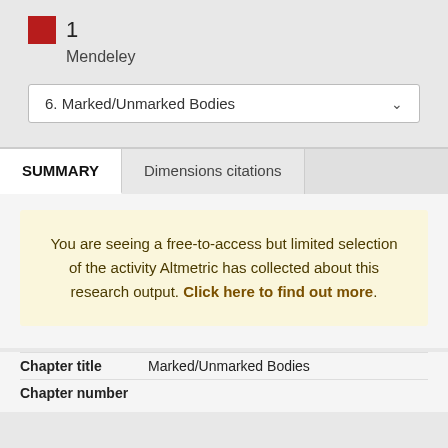[Figure (logo): Red square icon with number 1 and label Mendeley below]
6. Marked/Unmarked Bodies
SUMMARY
Dimensions citations
You are seeing a free-to-access but limited selection of the activity Altmetric has collected about this research output. Click here to find out more.
| Chapter title | Marked/Unmarked Bodies |
| Chapter number | 6 |